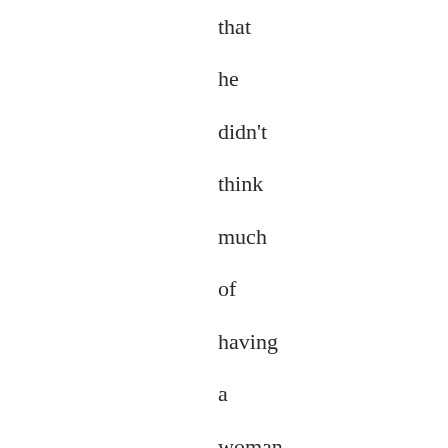that he didn't think much of having a woman in the dog laboratory, she snapped back, "Well, then, Dr. Whipple, here is one woman you